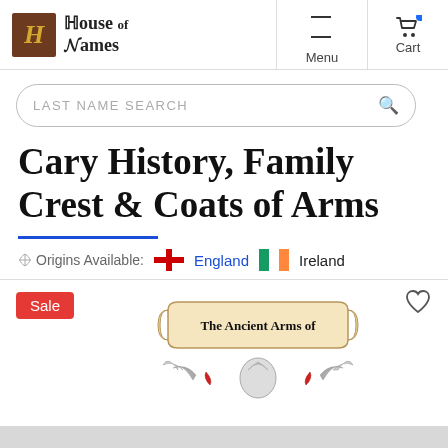[Figure (logo): House of Names logo with decorative H in brown box and blackletter text]
[Figure (infographic): Navigation menu icon (hamburger) and Menu label; Cart icon]
[Figure (screenshot): LAST NAME SEARCH search box with magnifying glass icon]
Cary History, Family Crest & Coats of Arms
Origins Available: England Ireland
[Figure (illustration): The Ancient Arms of scroll banner with decorative heraldic imagery including wings and a crest, Sale badge, heart/wishlist icon]